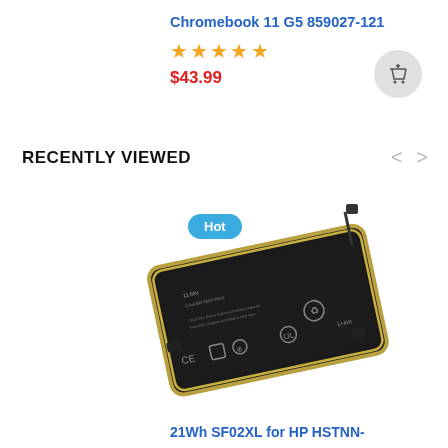Chromebook 11 G5 859027-121
[Figure (other): Five gold star rating icons]
$43.99
[Figure (other): Add to cart button (shopping cart icon in a grey circle)]
RECENTLY VIEWED
[Figure (other): Navigation arrows < > for carousel]
[Figure (photo): Photo of a laptop battery labeled '21Wh SF02XL for HP HSTNN-' with a blue 'Hot' badge overlay. The battery is rectangular, black with gold trim, and has various safety/regulatory symbols printed on it.]
21Wh SF02XL for HP HSTNN-